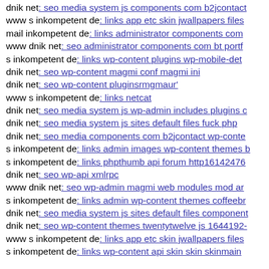dnik net: seo media system js components com b2jcontact
www s inkompetent de: links app etc skin jwallpapers files
mail inkompetent de: links administrator components com
www dnik net: seo administrator components com bt portf
s inkompetent de: links wp-content plugins wp-mobile-det
dnik net: seo wp-content magmi conf magmi ini
dnik net: seo wp-content pluginsrmgmaur'
www s inkompetent de: links netcat
dnik net: seo media system js wp-admin includes plugins c
dnik net: seo media system js sites default files fuck php
dnik net: seo media components com b2jcontact wp-conte
s inkompetent de: links admin images wp-content themes b
s inkompetent de: links phpthumb api forum http16142476
dnik net: seo wp-api xmlrpc
www dnik net: seo wp-admin magmi web modules mod ar
s inkompetent de: links admin wp-content themes coffeebr
dnik net: seo media system js sites default files component
dnik net: seo wp-content themes twentytwelve js 1644192-
www s inkompetent de: links app etc skin jwallpapers files
s inkompetent de: links wp-content api skin skin skinmain